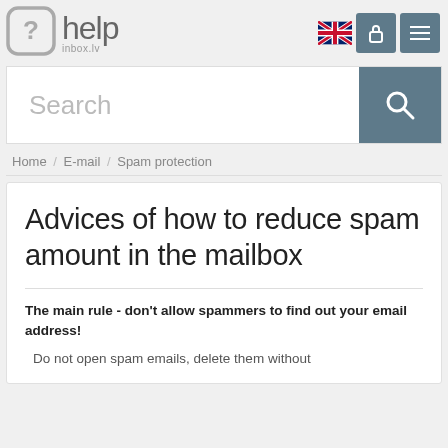help inbox.lv
[Figure (logo): help inbox.lv logo with question mark circle icon]
Home / E-mail / Spam protection
Advices of how to reduce spam amount in the mailbox
The main rule - don't allow spammers to find out your email address!
Do not open spam emails, delete them without